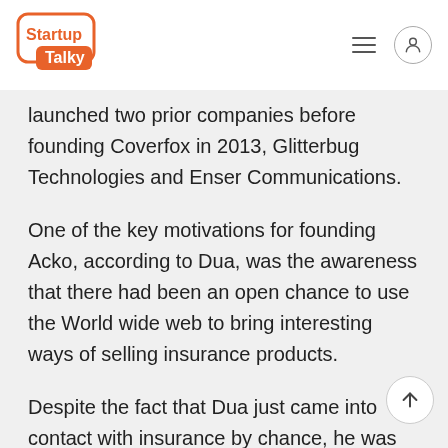StartupTalky
launched two prior companies before founding Coverfox in 2013, Glitterbug Technologies and Enser Communications.
One of the key motivations for founding Acko, according to Dua, was the awareness that there had been an open chance to use the World wide web to bring interesting ways of selling insurance products.
Despite the fact that Dua just came into contact with insurance by chance, he was rapidly pulled